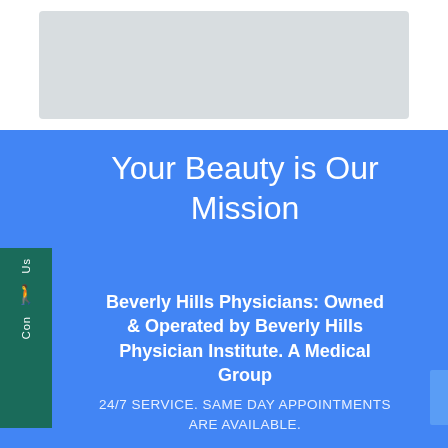[Figure (other): Gray placeholder image box at the top of the page]
Your Beauty is Our Mission
Beverly Hills Physicians: Owned & Operated by Beverly Hills Physician Institute. A Medical Group
24/7 SERVICE. SAME DAY APPOINTMENTS ARE AVAILABLE.